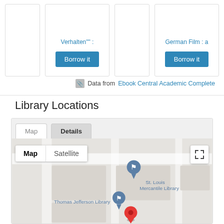Verhalten"" :
German Film : a
Borrow it
Borrow it
Data from Ebook Central Academic Complete
Library Locations
[Figure (map): Google Map showing St. Louis Mercantile Library and Thomas Jefferson Library locations, with Map/Satellite toggle controls and a red location pin marker]